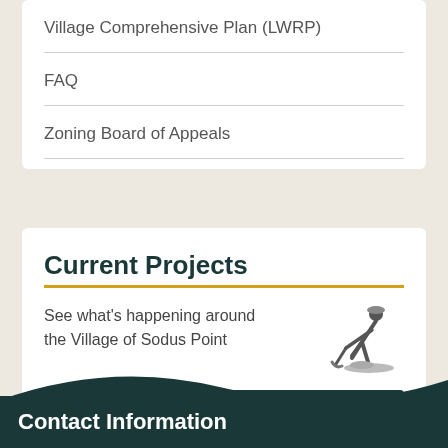Village Comprehensive Plan (LWRP)
FAQ
Zoning Board of Appeals
Current Projects
See what's happening around the Village of Sodus Point
[Figure (illustration): Icon of a construction worker digging]
View Current Projects
Contact Information